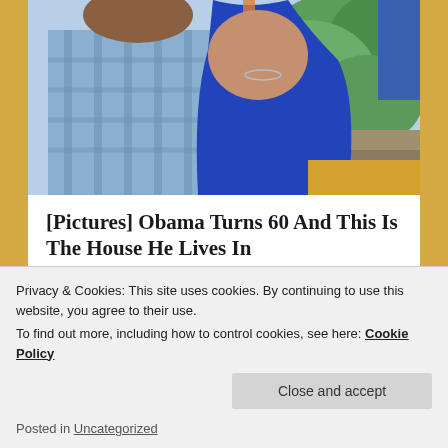[Figure (photo): Photo of two people outdoors with greenery in background; woman in blue dress visible on right, man in blue shirt on left]
[Pictures] Obama Turns 60 And This Is The House He Lives In
BuzzAura
Share this:
Twitter  Facebook
Privacy & Cookies: This site uses cookies. By continuing to use this website, you agree to their use.
To find out more, including how to control cookies, see here: Cookie Policy
Close and accept
Posted in Uncategorized